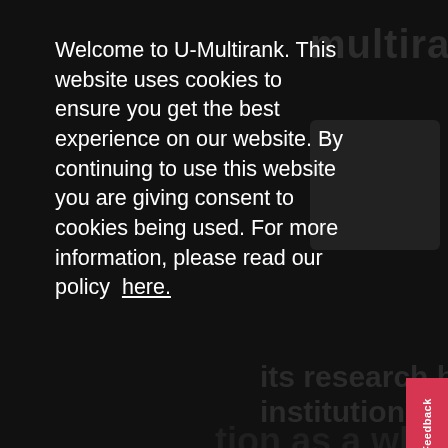[Figure (screenshot): Dark background screenshot of U-Multirank website with watermark logo text visible in the top right and blurred background imagery]
Welcome to U-Multirank. This website uses cookies to ensure you get the best experience on our website. By continuing to use this website you are giving consent to cookies being used. For more information, please read our policy here.
List cookies
Decline cookies
Allow cookies
Feedback